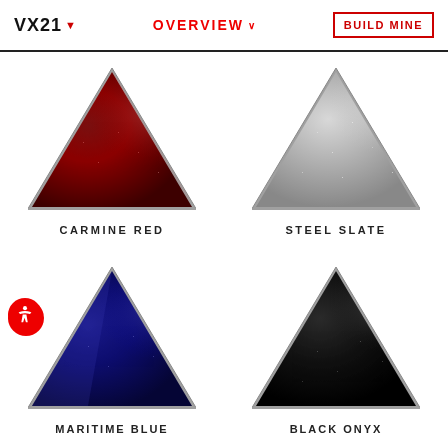VX21 | OVERVIEW | BUILD MINE
[Figure (illustration): Carmine Red triangular color swatch with metallic flake finish]
CARMINE RED
[Figure (illustration): Steel Slate triangular color swatch with silver metallic flake finish]
STEEL SLATE
[Figure (illustration): Maritime Blue triangular color swatch with deep blue metallic flake finish]
MARITIME BLUE
[Figure (illustration): Black Onyx triangular color swatch with black gloss and subtle sparkle]
BLACK ONYX